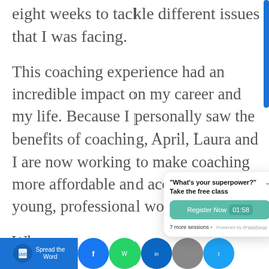eight weeks to tackle different issues that I was facing.
This coaching experience had an incredible impact on my career and my life. Because I personally saw the benefits of coaching, April, Laura and I are now working to make coaching more affordable and accessible to young, professional women.
When coach. and w
[Figure (screenshot): Popup widget showing 'What's your superpower? Take the free class' with Register Now button, 01:58 timer, 7 more sessions link, and Powered by eWebinar branding]
[Figure (screenshot): Bottom navigation bar with blue Spread the Word button with phone SMS icon, and colored circle icons]